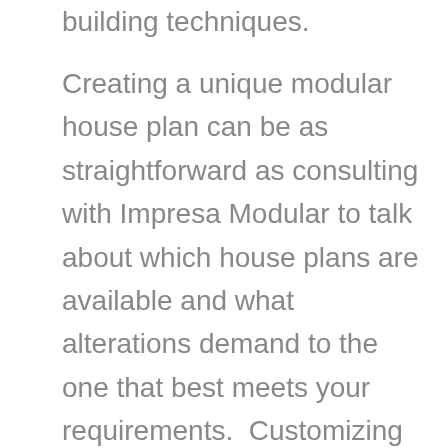building techniques.
Creating a unique modular house plan can be as straightforward as consulting with Impresa Modular to talk about which house plans are available and what alterations demand to the one that best meets your requirements.  Customizing can be as painless as revising an existing plan or it could be as exciting as creating your own home plan from scratch.  Modular homes allow you relocate walls, add rooms, or design huge open spaces. Many clients use one of our 100's of house designs as a great start to create their custom home. The remainder provide us with a house plan and we use it to create and construct